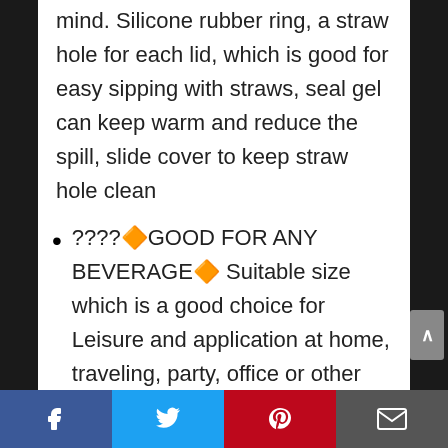mind. Silicone rubber ring, a straw hole for each lid, which is good for easy sipping with straws, seal gel can keep warm and reduce the spill, slide cover to keep straw hole clean
????🔶GOOD FOR ANY BEVERAGE🔶 Suitable size which is a good choice for Leisure and application at home, traveling, party, office or other places. Suitable for all seasons, good for storing any beverage such as wine, beer, coffee, drinks, champagne, cocktails, ice cream and so on
Facebook | Twitter | Pinterest | Email